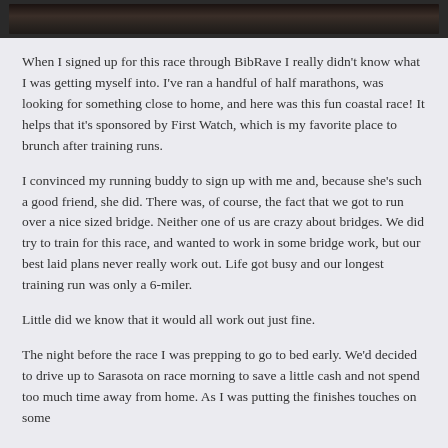[Figure (photo): Partial view of a dark nature/outdoor photo at the top of the page]
When I signed up for this race through BibRave I really didn't know what I was getting myself into. I've ran a handful of half marathons, was looking for something close to home, and here was this fun coastal race! It helps that it's sponsored by First Watch, which is my favorite place to brunch after training runs.
I convinced my running buddy to sign up with me and, because she's such a good friend, she did. There was, of course, the fact that we got to run over a nice sized bridge. Neither one of us are crazy about bridges. We did try to train for this race, and wanted to work in some bridge work, but our best laid plans never really work out. Life got busy and our longest training run was only a 6-miler.
Little did we know that it would all work out just fine.
The night before the race I was prepping to go to bed early. We'd decided to drive up to Sarasota on race morning to save a little cash and not spend too much time away from home. As I was putting the finishes touches on some